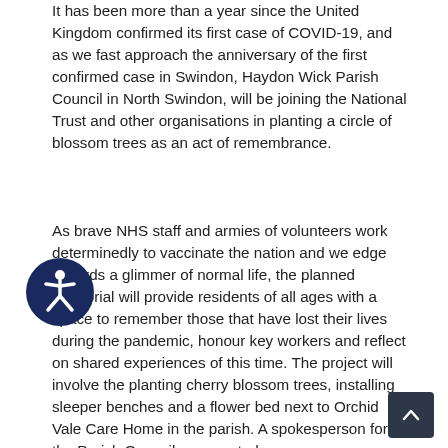It has been more than a year since the United Kingdom confirmed its first case of COVID-19, and as we fast approach the anniversary of the first confirmed case in Swindon, Haydon Wick Parish Council in North Swindon, will be joining the National Trust and other organisations in planting a circle of blossom trees as an act of remembrance.
As brave NHS staff and armies of volunteers work determinedly to vaccinate the nation and we edge towards a glimmer of normal life, the planned memorial will provide residents of all ages with a space to remember those that have lost their lives during the pandemic, honour key workers and reflect on shared experiences of this time. The project will involve the planting cherry blossom trees, installing sleeper benches and a flower bed next to Orchid Vale Care Home in the parish. A spokesperson for the Parish Council commented: